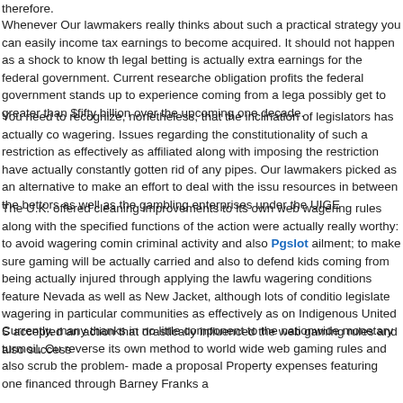therefore.
Whenever Our lawmakers really thinks about such a practical strategy you can easily income tax earnings to become acquired. It should not happen as a shock to know that legal betting is actually extra earnings for the federal government. Current researchers obligation profits the federal government stands up to experience coming from a legal possibly get to greater than $fifty billion over the upcoming one decade.
You need to recognize, nonetheless, that the inclination of legislators has actually co wagering. Issues regarding the constitutionality of such a restriction as effectively as affiliated along with imposing the restriction have actually constantly gotten rid of any pipes. Our lawmakers picked as an alternative to make an effort to deal with the issu resources in between the bettors as well as the gambling enterprises under the UIGE
The U.K. offered cleaning improvements to its own web wagering rules along with the specified functions of the action were actually really worthy: to avoid wagering comin criminal activity and also Pgslot ailment; to make sure gaming will be actually carried and also to defend kids coming from being actually injured through applying the lawfu wagering conditions feature Nevada as well as New Jacket, although lots of conditio legislate wagering in particular communities as effectively as on Indigenous United S accepted an action that drastically influenced the web gaming rules and also success
Currently, many thanks in no little component to the nationwide monetary turmoil, Ou reverse its own method to world wide web gaming rules and also scrub the problem- made a proposal Property expenses featuring one financed through Barney Franks a